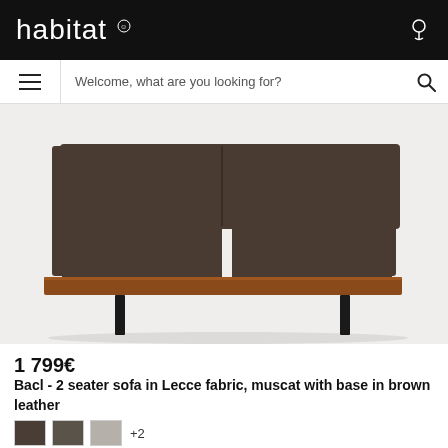habitat
Welcome, what are you looking for?
[Figure (photo): A 2-seater sofa (Bacl model) upholstered in dark brown/muscat Lecce fabric, sitting on a warm brown leather-wrapped base platform with black metal legs, photographed on a light grey background.]
1 799€
Bacl - 2 seater sofa in Lecce fabric, muscat with base in brown leather